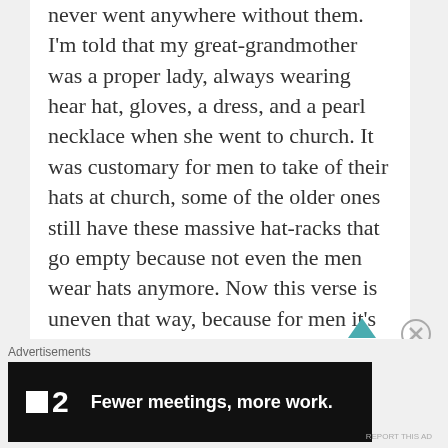never went anywhere without them. I'm told that my great-grandmother was a proper lady, always wearing hear hat, gloves, a dress, and a pearl necklace when she went to church. It was customary for men to take of their hats at church, some of the older ones still have these massive hat-racks that go empty because not even the men wear hats anymore. Now this verse is uneven that way, because for men it's no sacrifice to not wear a hat to church as they wouldn't wear one as they went everywhere else. For ladies, it becomes an increasingly expensive
Advertisements
[Figure (other): Advertisement banner for 'Fewer meetings, more work.' with a dark background, white text, and a logo showing a small white square next to the number 2.]